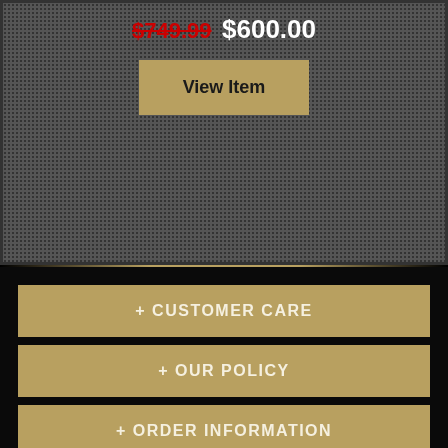$749.99  $600.00
View Item
+ CUSTOMER CARE
+ OUR POLICY
+ ORDER INFORMATION
Subscribe to our Newsletter